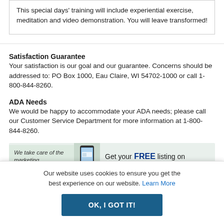This special days' training will include experiential exercise, meditation and video demonstration. You will leave transformed!
Satisfaction Guarantee
Your satisfaction is our goal and our guarantee. Concerns should be addressed to: PO Box 1000, Eau Claire, WI 54702-1000 or call 1-800-844-8260.
ADA Needs
We would be happy to accommodate your ADA needs; please call our Customer Service Department for more information at 1-800-844-8260.
[Figure (infographic): Advertisement banner: 'We take care of the marketing...' with a phone image and 'Get your FREE listing on' text]
Our website uses cookies to ensure you get the best experience on our website. Learn More
OK, I GOT IT!